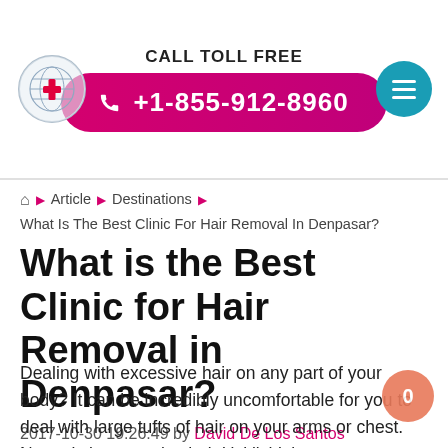CALL TOLL FREE +1-855-912-8960
🏠 ▶ Article ▶ Destinations ▶ What Is The Best Clinic For Hair Removal In Denpasar?
What is the Best Clinic for Hair Removal in Denpasar?
2017-10-30 19:26:49 by David De Los Santos
Dealing with excessive hair on any part of your body? It can be incredibly uncomfortable for you to deal with large tufts of hair on your arms or chest. Not only is excessive hair 'ticklish', but your core temperature might stay high, as the hair traps heat. You can beat the high cost of cosmetic treatments, including hair removal, in Australia